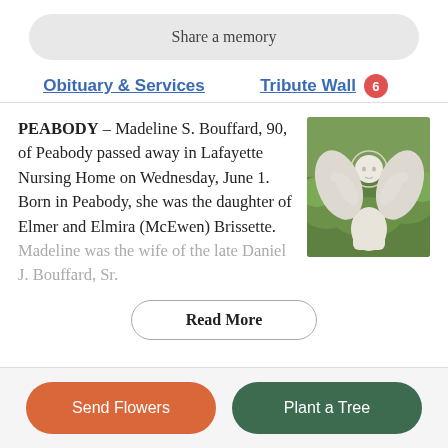Share a memory
Obituary & Services
Tribute Wall 6
PEABODY – Madeline S. Bouffard, 90, of Peabody passed away in Lafayette Nursing Home on Wednesday, June 1. Born in Peabody, she was the daughter of Elmer and Elmira (McEwen) Brissette. Madeline was the wife of the late Daniel J. Bouffard, Sr.
[Figure (photo): White angel statue in a garden setting with green foliage in the background]
Read More
Send Flowers
Plant a Tree